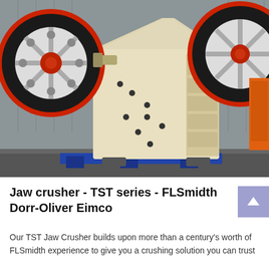[Figure (photo): Industrial jaw crusher (TST series) painted cream/white with large red and black flywheels on either side, photographed in a workshop or industrial yard setting. An orange machine is partially visible on the right side.]
Jaw crusher - TST series - FLSmidth Dorr-Oliver Eimco
Our TST Jaw Crusher builds upon more than a century's worth of FLSmidth experience to give you a crushing solution you can trust